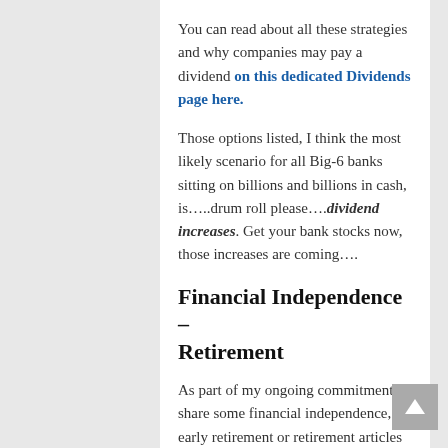You can read about all these strategies and why companies may pay a dividend on this dedicated Dividends page here.
Those options listed, I think the most likely scenario for all Big-6 banks sitting on billions and billions in cash, is…..drum roll please….dividend increases. Get your bank stocks now, those increases are coming….
Financial Independence – Retirement
As part of my ongoing commitment to share some financial independence, early retirement or retirement articles from the blogosphere, here are some links!